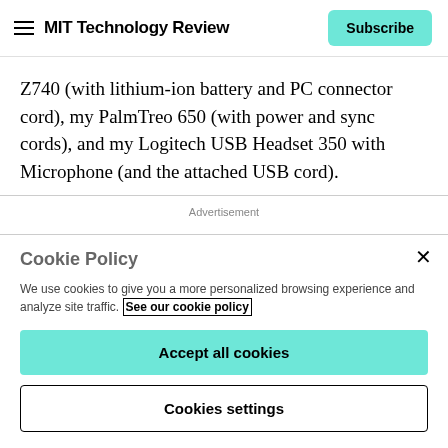MIT Technology Review | Subscribe
Z740 (with lithium-ion battery and PC connector cord), my PalmTreo 650 (with power and sync cords), and my Logitech USB Headset 350 with Microphone (and the attached USB cord).
Advertisement
Cookie Policy
We use cookies to give you a more personalized browsing experience and analyze site traffic. See our cookie policy
Accept all cookies
Cookies settings